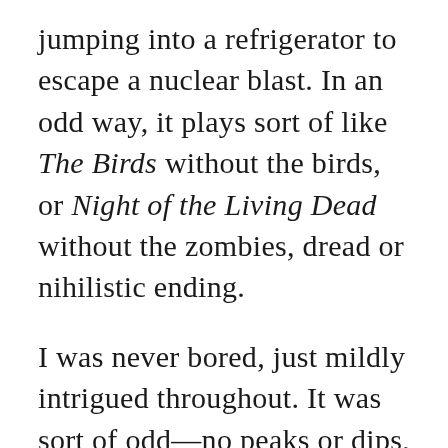jumping into a refrigerator to escape a nuclear blast. In an odd way, it plays sort of like The Birds without the birds, or Night of the Living Dead without the zombies, dread or nihilistic ending.
I was never bored, just mildly intrigued throughout. It was sort of odd—no peaks or dips, just a sort of sustained tone whether folks are yammering at each other, running away or shoving a knitting needle down their throat.